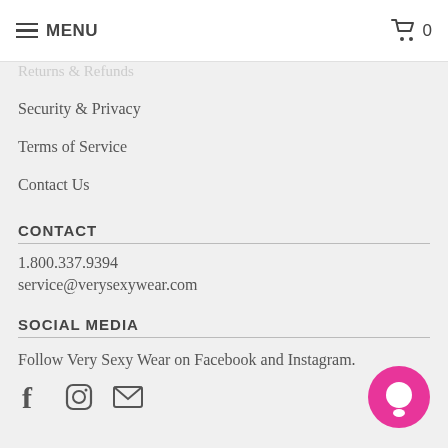MENU  0
Returns & Refunds (partially visible)
Security & Privacy
Terms of Service
Contact Us
CONTACT
1.800.337.9394
service@verysexywear.com
SOCIAL MEDIA
Follow Very Sexy Wear on Facebook and Instagram.
[Figure (illustration): Social media icons: Facebook (f), Instagram (circle with square), and envelope (email)]
[Figure (illustration): Pink circular chat/messenger button in bottom right corner]